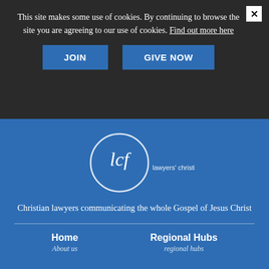This site makes some use of cookies. By continuing to browse the site you are agreeing to our use of cookies. Find out more here
JOIN
GIVE NOW
[Figure (logo): LCF Lawyers' Christian Fellowship circular logo with text]
Christian lawyers communicating the whole Gospel of Jesus Christ
Home
Regional Hubs